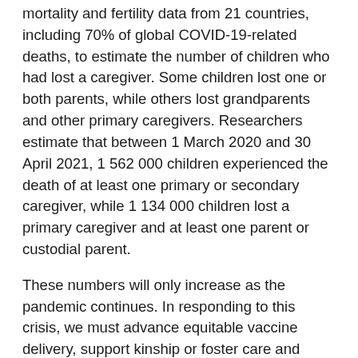mortality and fertility data from 21 countries, including 70% of global COVID-19-related deaths, to estimate the number of children who had lost a caregiver. Some children lost one or both parents, while others lost grandparents and other primary caregivers. Researchers estimate that between 1 March 2020 and 30 April 2021, 1 562 000 children experienced the death of at least one primary or secondary caregiver, while 1 134 000 children lost a primary caregiver and at least one parent or custodial parent.
These numbers will only increase as the pandemic continues. In responding to this crisis, we must advance equitable vaccine delivery, support kinship or foster care and avoid institutionalisation, and support families to care for children with deceased parents or caregivers. Low-cost accelerator approaches focused on family strengthening – a subset of the same strategies that have proven effective in preventing violence – can improve multiple outcomes for children with deceased caregivers, showing the urgent need